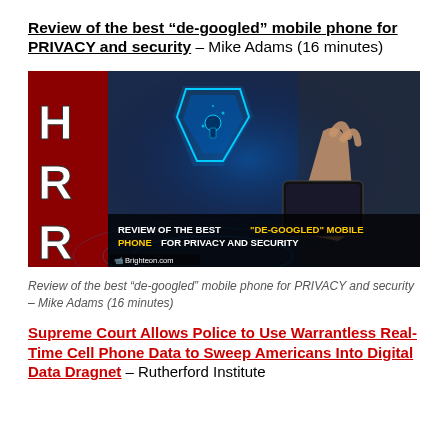Review of the best “de-googled” mobile phone for PRIVACY and security – Mike Adams (16 minutes)
[Figure (screenshot): HRR (Health Ranger Report) video thumbnail showing a glowing blue security shield with a keyhole and a person holding a smartphone, with text 'REVIEW OF THE BEST "DE-GOOGLED" MOBILE PHONE FOR PRIVACY AND SECURITY' and Brighteon.com logo]
Review of the best “de-googled” mobile phone for PRIVACY and security – Mike Adams (16 minutes)
Supreme Court Allows Police to Use Warrantless Real-Time Cell Phone Data to Sweep Americans Into Digital Data Dragnet – Rutherford Institute